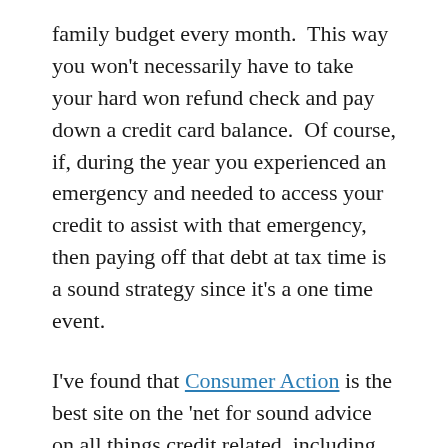family budget every month.  This way you won't necessarily have to take your hard won refund check and pay down a credit card balance.  Of course, if, during the year you experienced an emergency and needed to access your credit to assist with that emergency, then paying off that debt at tax time is a sound strategy since it's a one time event.
I've found that Consumer Action is the best site on the 'net for sound advice on all things credit related, including how to obtain lower credit card rates and fees and great counselling on preparing and maintaining a family budget.  Find them here: Consumer Action